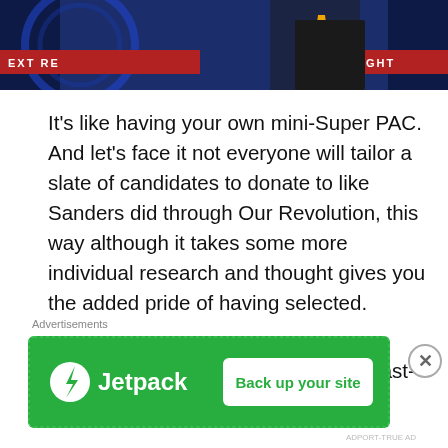[Figure (photo): News broadcast screenshot showing a TV anchor in a dark suit with yellow tie against a blue studio background with red news ticker bar]
It's like having your own mini-Super PAC. And let's face it not everyone will tailor a slate of candidates to donate to like Sanders did through Our Revolution, this way although it takes some more individual research and thought gives you the added pride of having selected.
Plus, for adrenaline junkies, a small last-
Advertisements
[Figure (logo): Jetpack advertisement banner with green background, Jetpack logo on left and 'Back up your site' button on right]